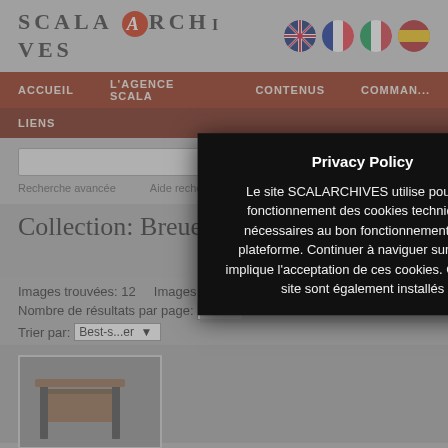[Figure (screenshot): Scala Archives website header with logo text SCALA archives, a red circle with letter 'a', and flag icons for UK, France, Italy, Spain]
ACCUEIL  L'AGENCE SCALA  CONTENUS  COMMANDE  LIENS
Recherche avancée   Aide recherche   Images disponibles
Le choix nation FRANCE exclut des recherches un ens de collections. Les clients non français sont invités à sélectionner leur pays dans le menu déroulant, ou bien choisir une autre version linguistique du site
Collection: Breuer Marcel
Images trouvées: 12    Images affichées:   1-12 / 12
Nombre de résultats par page:  12
Trier par:  Best-seller
[Figure (photo): Small photo of a chair designed by Marcel Breuer]
Privacy Policy
Le site SCALARCHIVES utilise pour son fonctionnement des cookies techniques, nécessaires au bon fonctionnement de la plateforme. Continuer à naviguer sur le site implique l'acceptation de ces cookies. Grâce au site sont également installés